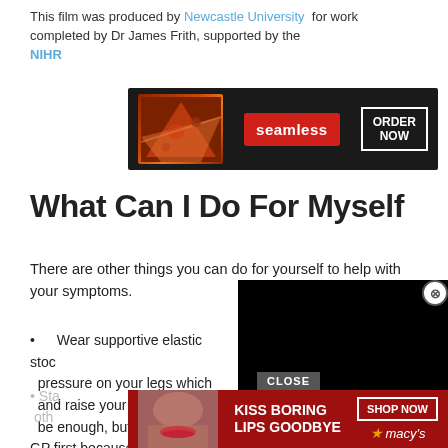This film was produced by Newcastle University for work completed by Dr James Frith, supported by the NIHR
[Figure (screenshot): Seamless food delivery advertisement banner with pizza image, red 'seamless' button, and 'ORDER NOW' button on dark background]
What Can I Do For Myself
There are other things you can do for yourself to help with your symptoms.
Wear supportive elastic stockings. These put pressure on your legs which helps squeeze blood up and raise your blood pressure. They may not be enough, but speak to your GP first because they arent suitable for everyone.
[Figure (screenshot): Black video player overlay covering part of page content]
Stand up slowly from sitting positions. You could try other things...before
[Figure (screenshot): Macy's lipstick advertisement with KISS BORING LIPS GOODBYE text and SHOP NOW button on red background]